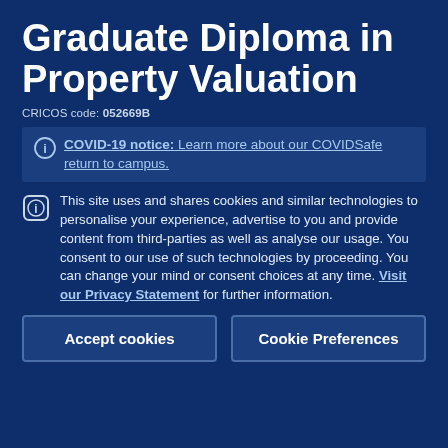Graduate Diploma in Property Valuation
CRICOS code: 052669B
COVID-19 notice: Learn more about our COVIDSafe return to campus.
This site uses and shares cookies and similar technologies to personalise your experience, advertise to you and provide content from third-parties as well as analyse our usage. You consent to our use of such technologies by proceeding. You can change your mind or consent choices at any time. Visit our Privacy Statement for further information.
Accept cookies
Cookie Preferences